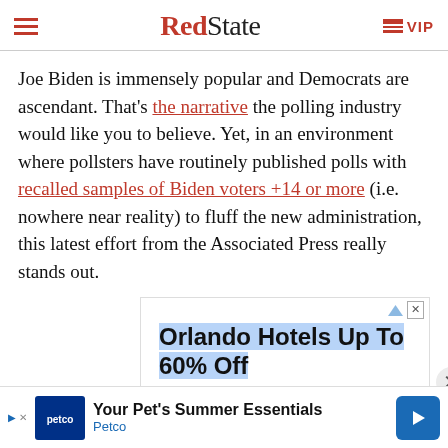RedState | VIP
Joe Biden is immensely popular and Democrats are ascendant. That's the narrative the polling industry would like you to believe. Yet, in an environment where pollsters have routinely published polls with recalled samples of Biden voters +14 or more (i.e. nowhere near reality) to fluff the new administration, this latest effort from the Associated Press really stands out.
[Figure (screenshot): Advertisement box for Orlando Hotels Up To 60% Off with blue highlighted text, subtext reading 'Exchange your way to an Orlando adventure with a Best Price Guarantee']
[Figure (screenshot): Bottom banner advertisement for Petco 'Your Pet's Summer Essentials' with Petco logo, blue arrow icon, and small ad attribution icons]